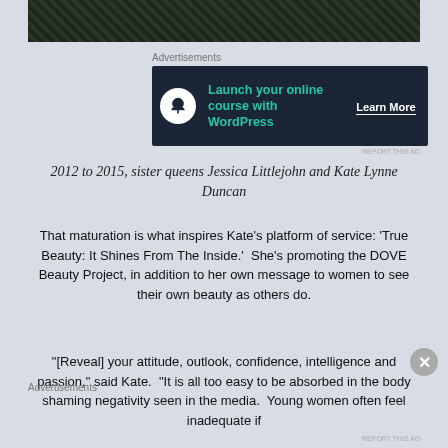[Figure (photo): Partial view of a dark photograph at top of page, showing figures in a dark setting]
Advertisements
[Figure (infographic): Advertisement banner: 'Launch your online course with WordPress' with a Learn More button, dark navy background]
2012 to 2015, sister queens Jessica Littlejohn and Kate Lynne Duncan
That maturation is what inspires Kate’s platform of service: ‘True Beauty: It Shines From The Inside.’  She’s promoting the DOVE Beauty Project, in addition to her own message to women to see their own beauty as others do.
“[Reveal] your attitude, outlook, confidence, intelligence and passion,” said Kate.  “It is all too easy to be absorbed in the body shaming negativity seen in the media.  Young women often feel inadequate if
Advertisements